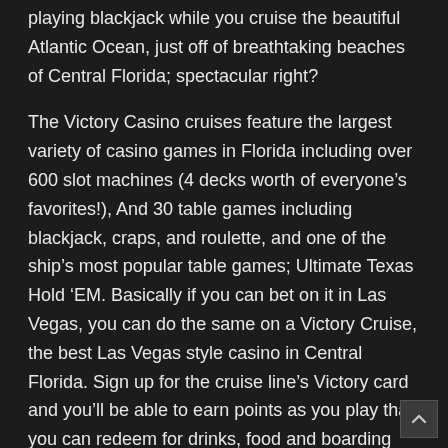playing blackjack while you cruise the beautiful Atlantic Ocean, just off of breathtaking beaches of Central Florida; spectacular right?
The Victory Casino cruises feature the largest variety of casino games in Florida including over 600 slot machines (4 decks worth of everyone’s favorites!), And 30 table games including blackjack, craps, and roulette, and one of the ship’s most popular table games; Ultimate Texas Hold ‘EM. Basically if you can bet on it in Las Vegas, you can do the same on a Victory Cruise, the best Las Vegas style casino in Central Florida. Sign up for the cruise line’s Victory card and you’ll be able to earn points as you play that you can redeem for drinks, food and boarding passes; a great added perk.!